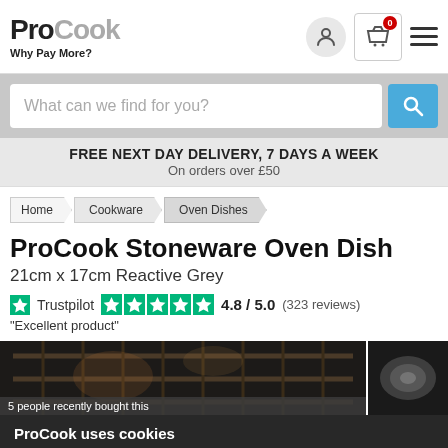ProCook — Why Pay More?
What can we find for you?
FREE NEXT DAY DELIVERY, 7 DAYS A WEEK
On orders over £50
Home
Cookware
Oven Dishes
ProCook Stoneware Oven Dish
21cm x 17cm Reactive Grey
Trustpilot ★★★★★ 4.8 / 5.0 (323 reviews)
"Excellent product"
[Figure (photo): ProCook Stoneware Oven Dish product photo in oven, dark background with oven rack grid lines]
5 people recently bought this
ProCook uses cookies
This site uses cookies to provide you with the best possible experience. By continuing to use our site you agree to our